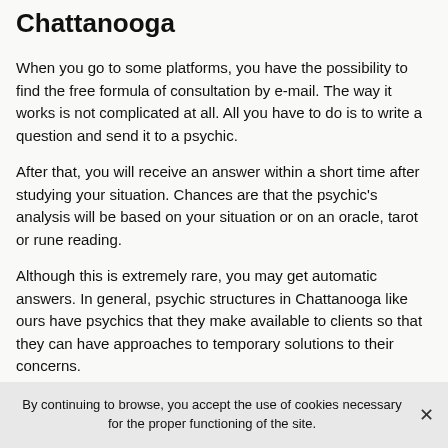Chattanooga
When you go to some platforms, you have the possibility to find the free formula of consultation by e-mail. The way it works is not complicated at all. All you have to do is to write a question and send it to a psychic.
After that, you will receive an answer within a short time after studying your situation. Chances are that the psychic's analysis will be based on your situation or on an oracle, tarot or rune reading.
Although this is extremely rare, you may get automatic answers. In general, psychic structures in Chattanooga like ours have psychics that they make available to clients so that they can have approaches to temporary solutions to their concerns.
By continuing to browse, you accept the use of cookies necessary for the proper functioning of the site.